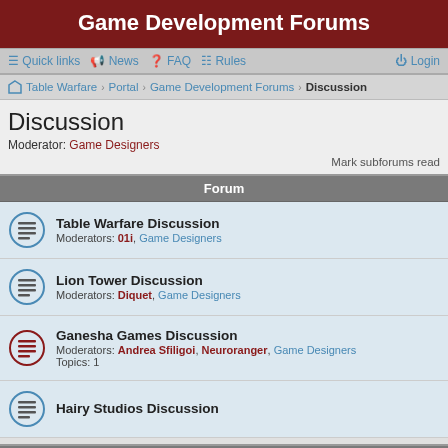Game Development Forums
≡ Quick links  📢 News  ❓ FAQ  📋 Rules  ⏻ Login
Table Warfare › Portal › Game Development Forums › Discussion
Discussion
Moderator: Game Designers
Mark subforums read
Forum
Table Warfare Discussion — Moderators: 01i, Game Designers
Lion Tower Discussion — Moderators: Diquet, Game Designers
Ganesha Games Discussion — Moderators: Andrea Sfiligoi, Neuroranger, Game Designers — Topics: 1
Hairy Studios Discussion
Active topics
Playtesting forum for ASOBH — Last post by Andrea Sfiligoi « Wed Dec 02, 2015 3:40 pm